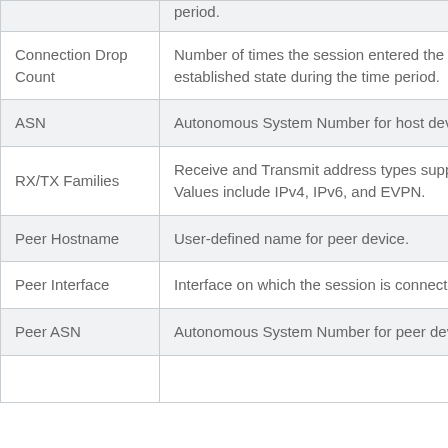| Term | Description |
| --- | --- |
|  | period. |
| Connection Drop Count | Number of times the session entered the not established state during the time period. |
| ASN | Autonomous System Number for host device. |
| RX/TX Families | Receive and Transmit address types supported. Values include IPv4, IPv6, and EVPN. |
| Peer Hostname | User-defined name for peer device. |
| Peer Interface | Interface on which the session is connected. |
| Peer ASN | Autonomous System Number for peer device. |
|  |  |